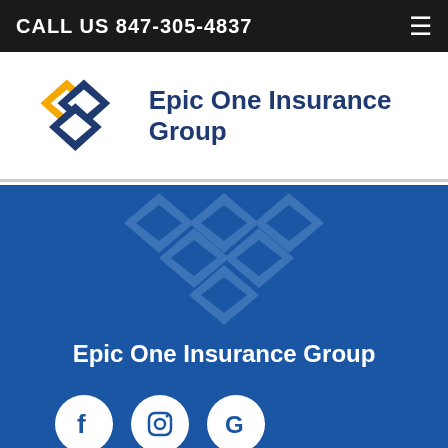CALL US 847-305-4837
[Figure (logo): Epic One Insurance Group logo with interlocking diamond shapes in navy blue and gold, with company name text]
[Figure (logo): Epic One Insurance Group watermark logo in light blue on blue background]
Epic One Insurance Group
[Figure (infographic): Social media icons: Facebook, Instagram, Google on white circles; accessibility icon on white outlined circle]